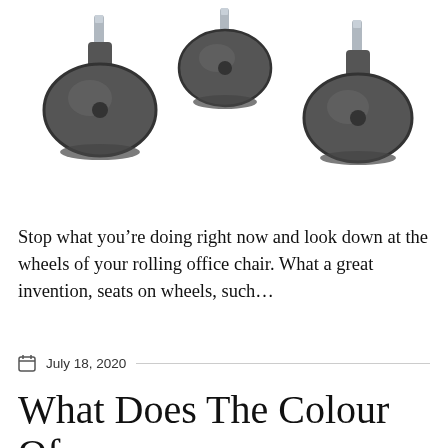[Figure (photo): Three dark gray caster wheels with chrome stems arranged in a triangular pattern on a white background]
Stop what you’re doing right now and look down at the wheels of your rolling office chair. What a great invention, seats on wheels, such…
July 18, 2020
What Does The Colour Of Your Room Say About You?